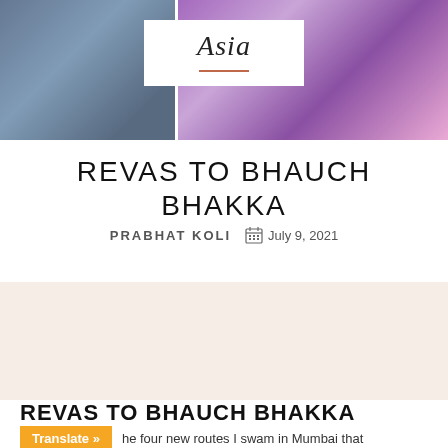[Figure (photo): Top banner with two photos: left shows people in blue clothing outdoors, right shows a person in purple/pink draped fabric. A white card overlay in the center displays the cursive text 'Asia' with a red underline.]
REVAS TO BHAUCH BHAKKA
PRABHAT KOLI   July 9, 2021
[Figure (other): A beige/light cream colored background section, likely an advertisement or placeholder banner area.]
REVAS TO BHAUCH BHAKKA
he four new routes I swam in Mumbai that